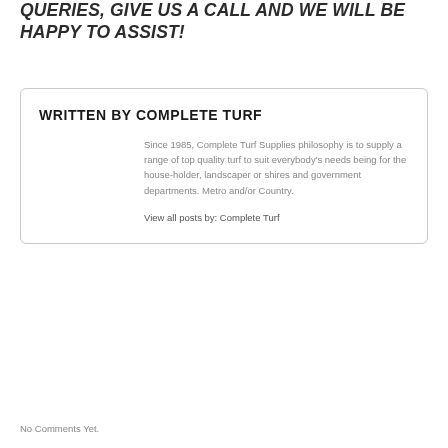PLEASE DON'T FORGET - FOR ANY QUERIES, GIVE US A CALL AND WE WILL BE HAPPY TO ASSIST!
WRITTEN BY COMPLETE TURF
Since 1985, Complete Turf Supplies philosophy is to supply a range of top quality turf to suit everybody's needs being for the house-holder, landscaper or shires and government departments. Metro and/or Country.
View all posts by: Complete Turf
No Comments Yet.